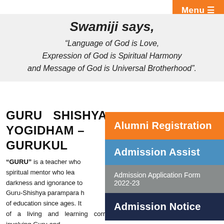Menu ≡
Swamiji says,
“Language of God is Love, Expression of God is Spiritual Harmony and Message of God is Universal Brotherhood”.
GURU SHISHYA YOGIDHAM – GURUKUL
“GURU” is a teacher who is a spiritual mentor who leads from darkness and ignorance to… Guru-Shishya parampara h… of education since ages. It… of a living and learning correlation, involving Guru and Shishya, and has been signifying the emotional, intellectual
Alumni Registration
Admission Assist
Admission Application Form 2022-23
Admission Notice